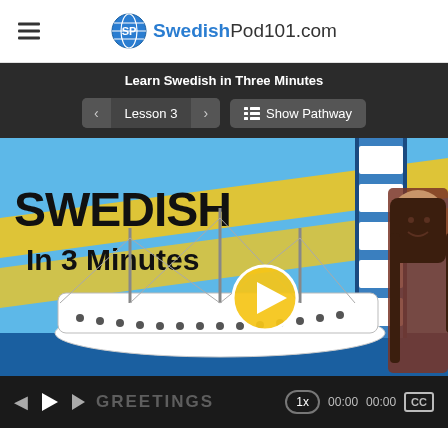SwedishPod101.com
Learn Swedish in Three Minutes
Lesson 3 | Show Pathway
[Figure (screenshot): Swedish In 3 Minutes video thumbnail with a Viking ship illustration, Swedish flag colors, a film strip, and a smiling woman with long dark hair on the right side. A circular play button is overlaid in the center.]
GREETINGS  1x  00:00  00:00  CC